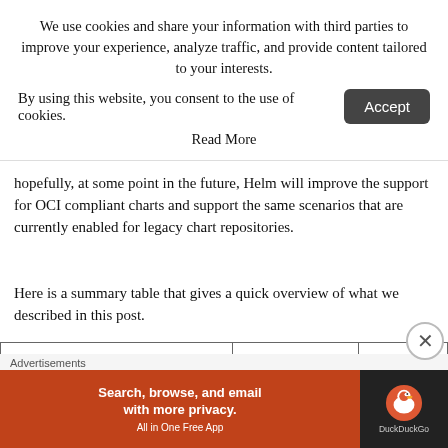We use cookies and share your information with third parties to improve your experience, analyze traffic, and provide content tailored to your interests.
By using this website, you consent to the use of cookies.
Read More
hopefully, at some point in the future, Helm will improve the support for OCI compliant charts and support the same scenarios that are currently enabled for legacy chart repositories.
Here is a summary table that gives a quick overview of what we described in this post.
| Functionality | Helm 2 CLI (legacy) | Helm 3 (le… |
| --- | --- | --- |
| helm add repo | Yes | Yes |
Advertisements
[Figure (infographic): DuckDuckGo advertisement banner: 'Search, browse, and email with more privacy. All in One Free App' with DuckDuckGo logo on dark background.]